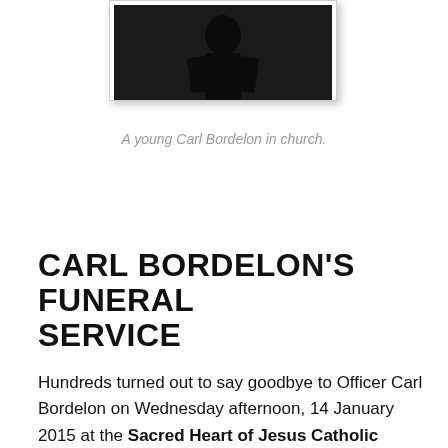[Figure (photo): A dark photograph showing a young person (Carl Bordelon) in a church setting, partially visible at top of page]
A young Carl Bordelon in church.
CARL BORDELON'S FUNERAL SERVICE
Hundreds turned out to say goodbye to Officer Carl Bordelon on Wednesday afternoon, 14 January 2015 at the Sacred Heart of Jesus Catholic Church in Pineville, Louisiana.